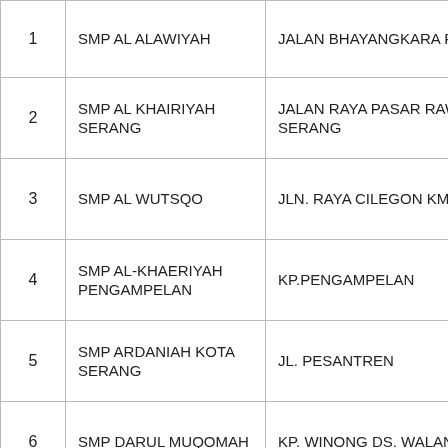| No | Nama Sekolah | Alamat |
| --- | --- | --- |
| 1 | SMP AL ALAWIYAH | JALAN BHAYANGKARA POLDA |
| 2 | SMP AL KHAIRIYAH SERANG | JALAN RAYA PASAR RAWU SERANG |
| 3 | SMP AL WUTSQO | JLN. RAYA CILEGON KM. 04 |
| 4 | SMP AL-KHAERIYAH PENGAMPELAN | KP.PENGAMPELAN |
| 5 | SMP ARDANIAH KOTA SERANG | JL. PESANTREN |
| 6 | SMP DARUL MUQOMAH | KP. WINONG DS. WALANTAKA |
| 7 | SMP DARUNAJAH PANCUR | JLN. EMPAT LIMA KP.SEPRING, |
| 8 | SMP IHSAN CERDAS MANDIRI | KOMPLEK CITRAGADING BLOK E5 CIPOCOK JAYA |